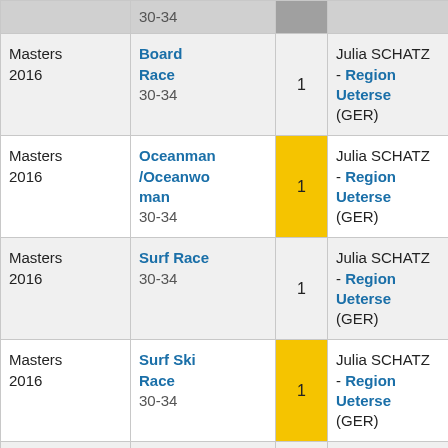| Competition | Event | Place | Athlete / Team |
| --- | --- | --- | --- |
|  | 30-34 |  |  |
| Masters 2016 | Board Race
30-34 | 1 | Julia SCHATZ - Region Ueterse (GER) |
| Masters 2016 | Oceanman/Oceanwoman
30-34 | 1 | Julia SCHATZ - Region Ueterse (GER) |
| Masters 2016 | Surf Race
30-34 | 1 | Julia SCHATZ - Region Ueterse (GER) |
| Masters 2016 | Surf Ski Race
30-34 | 1 | Julia SCHATZ - Region Ueterse (GER) |
| National Team Open 2010 | Oceanman/Oceanwoman | 13 | Julia SCHATZ - Germany Natio Team (GER) |
| National... | Board... | 9 | Julia SCHATZ... |